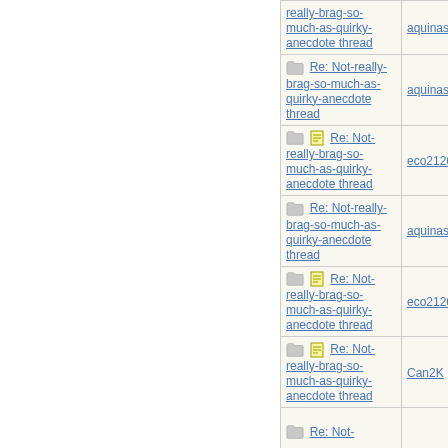| Subject | Author |
| --- | --- |
| really-brag-so-much-as-quirky-anecdote thread | aquinas |
| Re: Not-really-brag-so-much-as-quirky-anecdote thread | aquinas |
| Re: Not-really-brag-so-much-as-quirky-anecdote thread | eco21268 |
| Re: Not-really-brag-so-much-as-quirky-anecdote thread | aquinas |
| Re: Not-really-brag-so-much-as-quirky-anecdote thread | eco21268 |
| Re: Not-really-brag-so-much-as-quirky-anecdote thread | Can2K |
| Re: Not- |  |